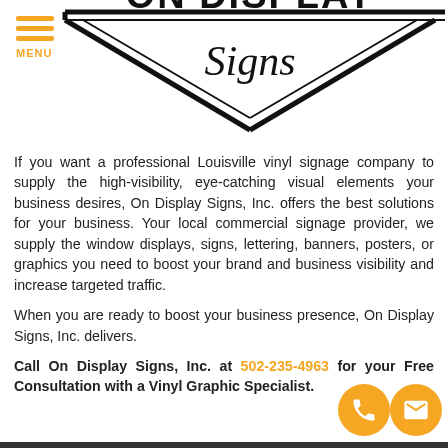[Figure (logo): On Display Signs logo with diamond/chevron shape and script text]
If you want a professional Louisville vinyl signage company to supply the high-visibility, eye-catching visual elements your business desires, On Display Signs, Inc. offers the best solutions for your business. Your local commercial signage provider, we supply the window displays, signs, lettering, banners, posters, or graphics you need to boost your brand and business visibility and increase targeted traffic.
When you are ready to boost your business presence, On Display Signs, Inc. delivers.
Call On Display Signs, Inc. at 502-235-4963 for your Free Consultation with a Vinyl Graphic Specialist.